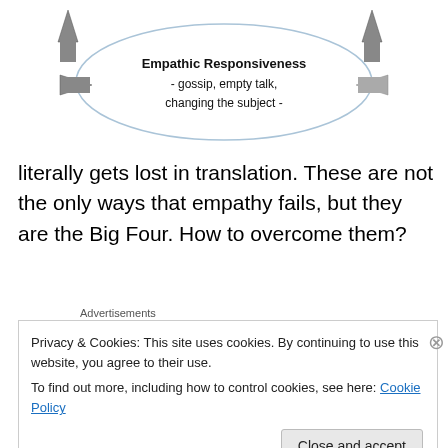[Figure (flowchart): Diagram showing an oval labeled 'Empathic Responsiveness - gossip, empty talk, changing the subject -' with two arrows pointing outward on the left and right sides.]
literally gets lost in translation. These are not the only ways that empathy fails, but they are the Big Four. How to overcome them?
Advertisements
[Figure (screenshot): Advertisement block showing bold text 'Business in' on a light pinkish-gray background.]
Privacy & Cookies: This site uses cookies. By continuing to use this website, you agree to their use.
To find out more, including how to control cookies, see here: Cookie Policy